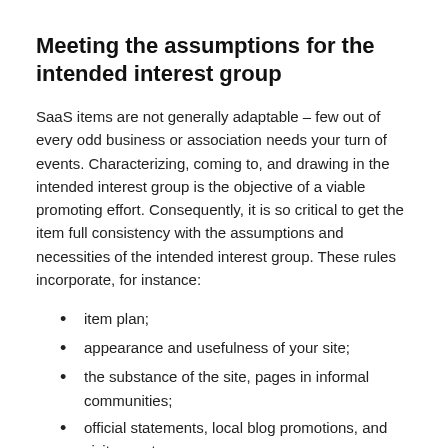Meeting the assumptions for the intended interest group
SaaS items are not generally adaptable – few out of every odd business or association needs your turn of events. Characterizing, coming to, and drawing in the intended interest group is the objective of a viable promoting effort. Consequently, it is so critical to get the item full consistency with the assumptions and necessities of the intended interest group. These rules incorporate, for instance:
item plan;
appearance and usefulness of your site;
the substance of the site, pages in informal communities;
official statements, local blog promotions, and visitor posts.